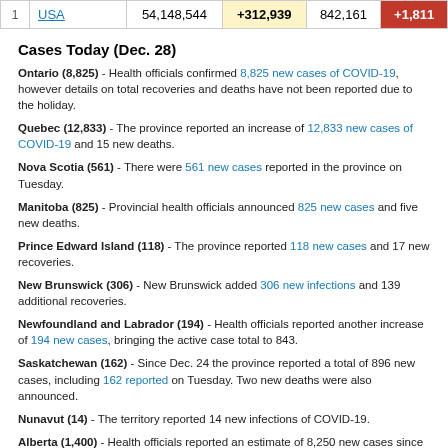| # | Country | Total Cases | New Cases | Deaths | New Deaths |
| --- | --- | --- | --- | --- | --- |
| 1 | USA | 54,148,544 | +312,939 | 842,161 | +1,811 |
Cases Today (Dec. 28)
Ontario (8,825) - Health officials confirmed 8,825 new cases of COVID-19, however details on total recoveries and deaths have not been reported due to the holiday.
Quebec (12,833) - The province reported an increase of 12,833 new cases of COVID-19 and 15 new deaths.
Nova Scotia (561) - There were 561 new cases reported in the province on Tuesday.
Manitoba (825) - Provincial health officials announced 825 new cases and five new deaths.
Prince Edward Island (118) - The province reported 118 new cases and 17 new recoveries.
New Brunswick (306) - New Brunswick added 306 new infections and 139 additional recoveries.
Newfoundland and Labrador (194) - Health officials reported another increase of 194 new cases, bringing the active case total to 843.
Saskatchewan (162) - Since Dec. 24 the province reported a total of 896 new cases, including 162 reported on Tuesday. Two new deaths were also announced.
Nunavut (14) - The territory reported 14 new infections of COVID-19.
Alberta (1,400) - Health officials reported an estimate of 8,250 new cases since Dec. 23, including 1,400 reported on Tuesday. These estimates are preliminary data that